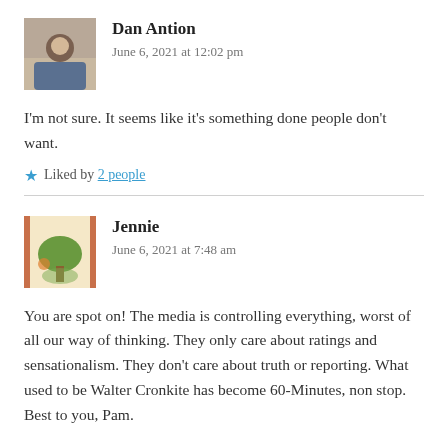[Figure (photo): Avatar photo of Dan Antion, a person sitting on a wooden floor]
Dan Antion
June 6, 2021 at 12:02 pm
I'm not sure. It seems like it's something done people don't want.
★ Liked by 2 people
[Figure (photo): Avatar image of Jennie, showing a painted tree artwork]
Jennie
June 6, 2021 at 7:48 am
You are spot on! The media is controlling everything, worst of all our way of thinking. They only care about ratings and sensationalism. They don't care about truth or reporting. What used to be Walter Cronkite has become 60-Minutes, non stop. Best to you, Pam.